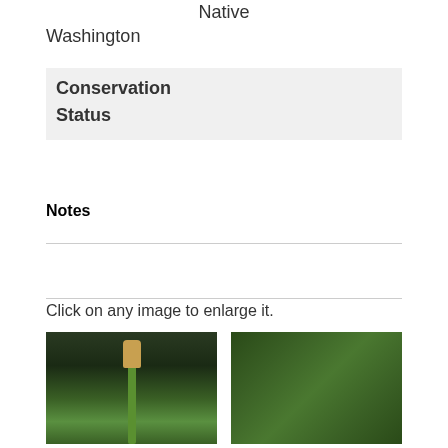Native
Washington
Conservation
Status
Notes
Click on any image to enlarge it.
[Figure (photo): Close-up photograph of a plant strobilus (cone-like spore structure) on a green stem against a dark background]
[Figure (photo): Dense stand of thin green plant stems with small branches, viewed up close]